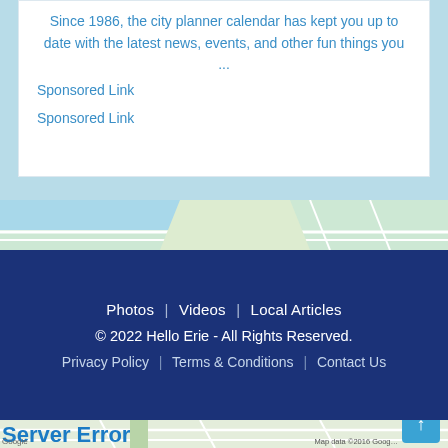Since 1986, the city planner calendar has kept you up to date with the latest news, events, and other fun things you ...
Sponsored Link
Sponsored Link
[Figure (map): Street map background strip showing roads and water features]
Photos | Videos | Local Articles
© 2022 Hello Erie - All Rights Reserved.
Privacy Policy | Terms & Conditions | Contact Us
[Figure (map): Street map background showing road grid with green/beige coloring]
Server Error
Our system is experiencing some issues at this time. Please try again later.